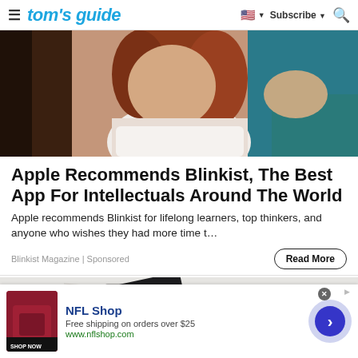tom's guide — Subscribe
[Figure (photo): Cropped photo of a young woman with auburn hair wearing a white t-shirt, viewed from slightly above, with another person in a teal top partially visible on the right]
Apple Recommends Blinkist, The Best App For Intellectuals Around The World
Apple recommends Blinkist for lifelong learners, top thinkers, and anyone who wishes they had more time t…
Blinkist Magazine | Sponsored
[Figure (photo): Partial view of a smartphone lying on a white/grey marble surface]
[Figure (infographic): Ad banner: NFL Shop — Free shipping on orders over $25, www.nflshop.com, SHOP NOW button, with dark red/maroon product image, and a blue circular arrow button on the right]